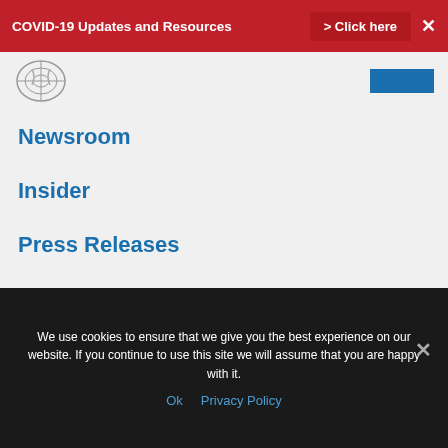COVID-19 Updates and Resources > Click here ✕
Newsroom
Insider
Press Releases
NATCA in the Media
Members Home
For any assistance, Click Here.
We use cookies to ensure that we give you the best experience on our website. If you continue to use this site we will assume that you are happy with it.
Ok   Privacy Policy